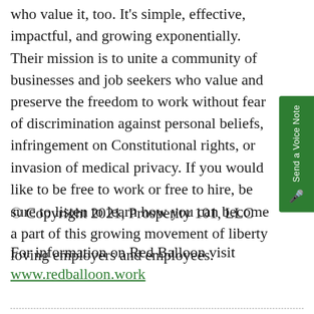who value it, too. It's simple, effective, impactful, and growing exponentially. Their mission is to unite a community of businesses and job seekers who value and preserve the freedom to work without fear of discrimination against personal beliefs, infringement on Constitutional rights, or invasion of medical privacy. If you would like to be free to work or free to hire, be sure to listen to learn how you can become a part of this growing movement of liberty loving employers and employees.
© Copyright 2021, Prosperity 101, LLC
For information on Red Balloon visit www.redballoon.work